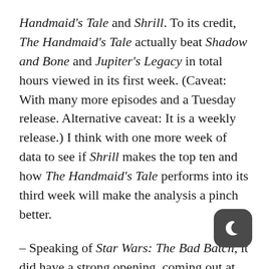Handmaid's Tale and Shrill. To its credit, The Handmaid's Tale actually beat Shadow and Bone and Jupiter's Legacy in total hours viewed in its first week. (Caveat: With many more episodes and a Tuesday release. Alternative caveat: It is a weekly release.) I think with one more week of data to see if Shrill makes the top ten and how The Handmaid's Tale performs into its third week will make the analysis a pinch better.
– Speaking of Star Wars: The Bad Batch, it did have a strong opening, coming out at 4.2 million hours viewed in the US in its opening week. Stronger than I would have guessed for an animated series